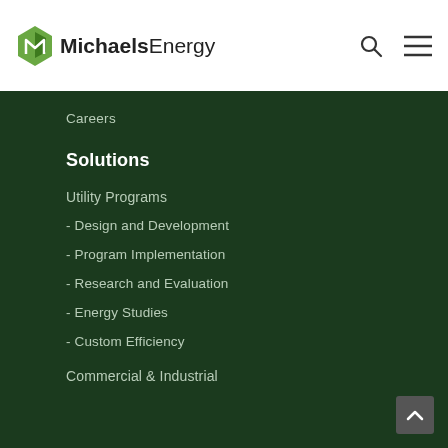[Figure (logo): Michaels Energy logo with green diamond/arrow icon and text 'MichaelsEnergy']
Careers
Solutions
Utility Programs
- Design and Development
- Program Implementation
- Research and Evaluation
- Energy Studies
- Custom Efficiency
Commercial & Industrial